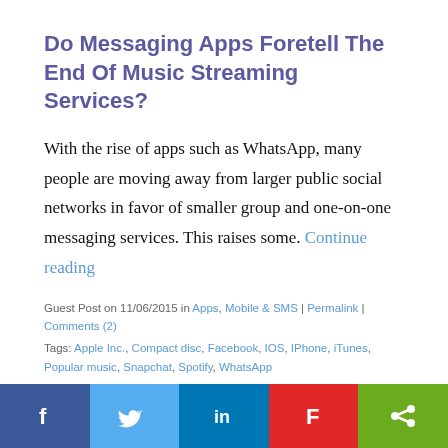Do Messaging Apps Foretell The End Of Music Streaming Services?
With the rise of apps such as WhatsApp, many people are moving away from larger public social networks in favor of smaller group and one-on-one messaging services. This raises some. Continue reading
Guest Post on 11/06/2015 in Apps, Mobile & SMS | Permalink | Comments (2)
Tags: Apple Inc., Compact disc, Facebook, IOS, IPhone, iTunes, Popular music, Snapchat, Spotify, WhatsApp
Share on:
SoundCloud Imposes API Streaming Limits
[Figure (infographic): Bottom social sharing bar with Facebook, Twitter, LinkedIn, Flipboard, and share buttons in colored sections]